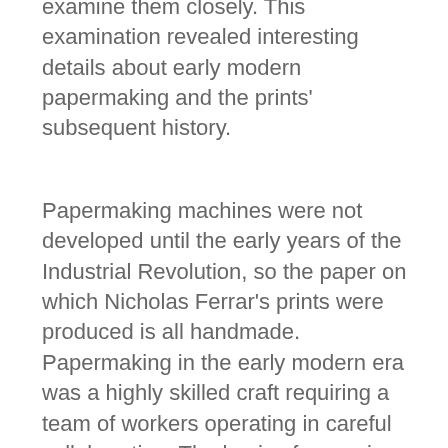examine them closely. This examination revealed interesting details about early modern papermaking and the prints' subsequent history.
Papermaking machines were not developed until the early years of the Industrial Revolution, so the paper on which Nicholas Ferrar's prints were produced is all handmade. Papermaking in the early modern era was a highly skilled craft requiring a team of workers operating in careful collaboration. The basis of paper is cellulose, which can be obtained